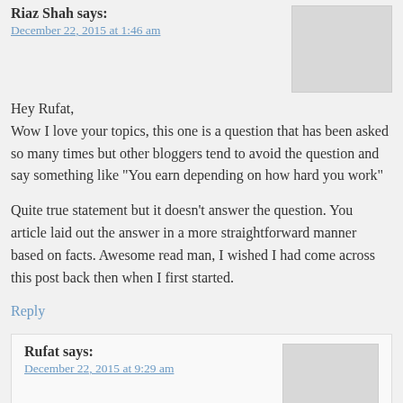Riaz Shah says:
December 22, 2015 at 1:46 am
Hey Rufat,
Wow I love your topics, this one is a question that has been asked so many times but other bloggers tend to avoid the question and say something like “You earn depending on how hard you work”
Quite true statement but it doesn’t answer the question. You article laid out the answer in a more straightforward manner based on facts. Awesome read man, I wished I had come across this post back then when I first started.
Reply
Rufat says:
December 22, 2015 at 9:29 am
Just I tried to show some real info because most internet gurus make unrealistic claims and promise that you can start making